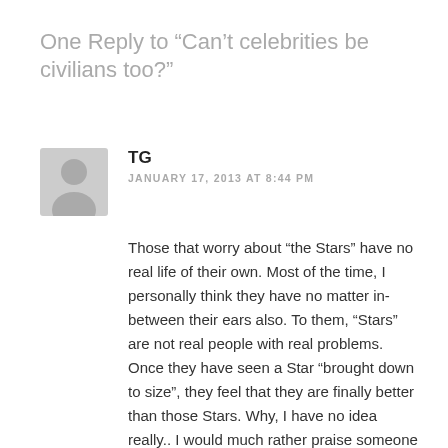One Reply to “Can’t celebrities be civilians too?”
TG
JANUARY 17, 2013 AT 8:44 PM
Those that worry about “the Stars” have no real life of their own. Most of the time, I personally think they have no matter in-between their ears also. To them, “Stars” are not real people with real problems. Once they have seen a Star “brought down to size”, they feel that they are finally better than those Stars. Why, I have no idea really.. I would much rather praise someone than berate them. I remember that they are human. I also remember that while I have never been famous, I have done things that gave me a